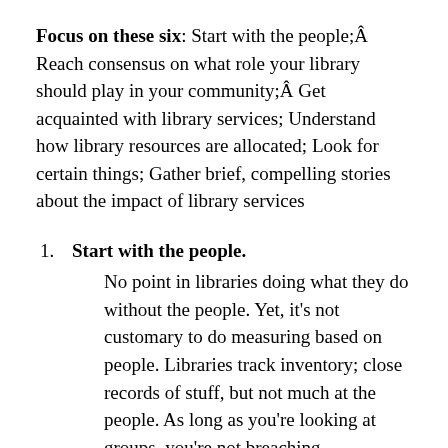Focus on these six: Start with the people; Reach consensus on what role your library should play in your community; Get acquainted with library services; Understand how library resources are allocated; Look for certain things; Gather brief, compelling stories about the impact of library services
Start with the people. No point in libraries doing what they do without the people. Yet, it's not customary to do measuring based on people. Libraries track inventory; close records of stuff, but not much at the people. As long as you're looking at groups, you're not breaching confidentiality. We've secured privacy